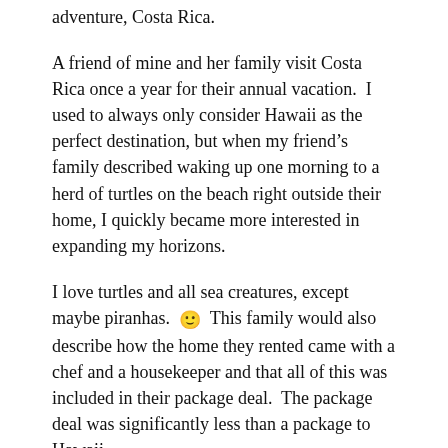adventure, Costa Rica.
A friend of mine and her family visit Costa Rica once a year for their annual vacation.  I used to always only consider Hawaii as the perfect destination, but when my friend's family described waking up one morning to a herd of turtles on the beach right outside their home, I quickly became more interested in expanding my horizons.
I love turtles and all sea creatures, except maybe piranhas. 🙂  This family would also describe how the home they rented came with a chef and a housekeeper and that all of this was included in their package deal.  The package deal was significantly less than a package to Hawaii.
RESEARCHING A TRIP TO COSTA RICA
Up until two years ago, I had never heard of VRBO (Vacation